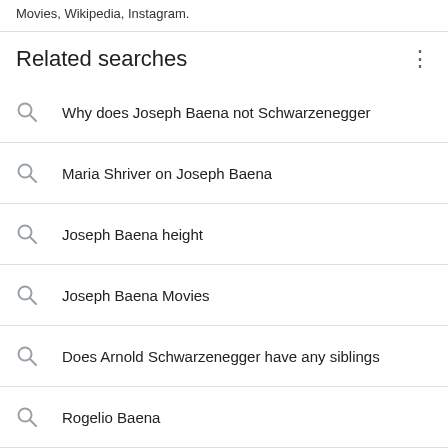Movies, Wikipedia, Instagram.
Related searches
Why does Joseph Baena not Schwarzenegger
Maria Shriver on Joseph Baena
Joseph Baena height
Joseph Baena Movies
Does Arnold Schwarzenegger have any siblings
Rogelio Baena
Mildred Baena